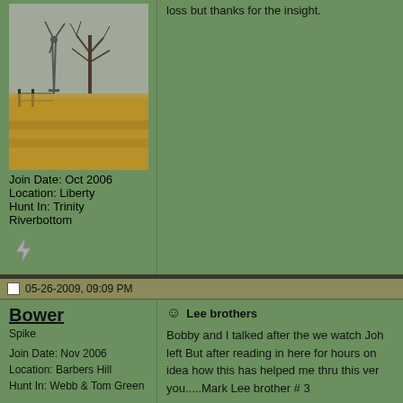[Figure (photo): Outdoor rural scene with a windmill and bare trees in a field, overcast sky]
Join Date: Oct 2006
Location: Liberty
Hunt In: Trinity Riverbottom
loss but thanks for the insight.
05-26-2009, 09:09 PM
Bower
Spike

Join Date: Nov 2006
Location: Barbers Hill
Hunt In: Webb & Tom Green
Lee brothers
Bobby and I talked after the we watch Joh left But after reading in here for hours on idea how this has helped me thru this ver you.....Mark Lee brother # 3